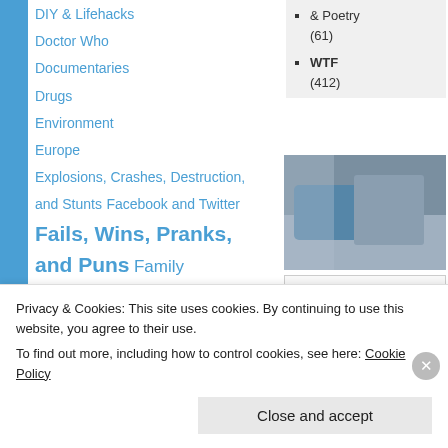DIY & Lifehacks
Doctor Who
Documentaries
Drugs
Environment
Europe
Explosions, Crashes, Destruction, and Stunts
Facebook and Twitter
Fails, Wins, Pranks, and Puns
Family
FanFilm/Short
Food & Drink
Freddie Wong
& Poetry (61)
WTF (412)
[Figure (photo): Photo of what appears to be a blue object/bag on a couch or floor]
[Figure (photo): Small broken/missing image icon]
89.7 The
Privacy & Cookies: This site uses cookies. By continuing to use this website, you agree to their use.
To find out more, including how to control cookies, see here: Cookie Policy
Close and accept